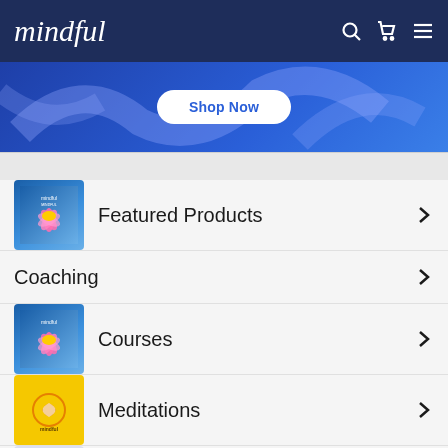mindful
[Figure (screenshot): Blue banner with Shop Now button]
Featured Products
Coaching
Courses
Meditations
Digital Guides
Magazine